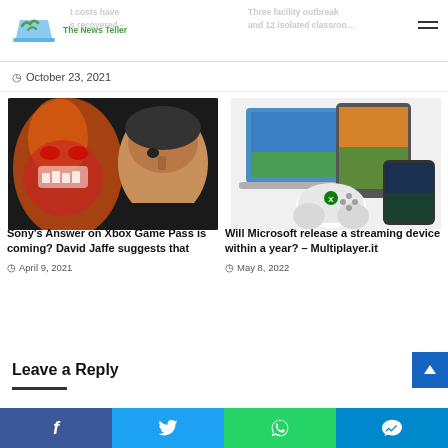The News Teller
October 23, 2021
[Figure (photo): Man with face-painted clown mask character in background – article thumbnail for Sony's Answer on Xbox Game Pass]
Sony's Answer on Xbox Game Pass is coming? David Jaffe suggests that
April 9, 2021
[Figure (photo): Xbox gaming devices – laptop, tablet, phone with game controller – article thumbnail for Will Microsoft release a streaming device]
Will Microsoft release a streaming device within a year? – Multiplayer.it
May 8, 2022
Leave a Reply